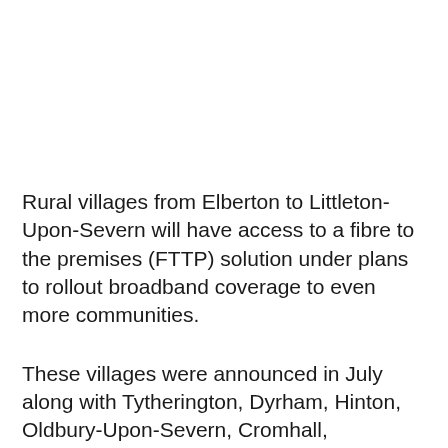Rural villages from Elberton to Littleton-Upon-Severn will have access to a fibre to the premises (FTTP) solution under plans to rollout broadband coverage to even more communities.
These villages were announced in July along with Tytherington, Dyrham, Hinton, Oldbury-Upon-Severn, Cromhall, Codrington and Little Sodbury as the latest areas to benefit from the rollout after we were able to secure an additional £1.49m investment. They would all be able to benefit from access to FTTP. The village of Hill has also been announced today as a community